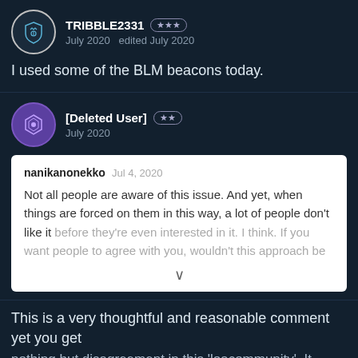TRIBBLE2331 ★★★
July 2020   edited July 2020
I used some of the BLM beacons today.
[Deleted User] ★★
July 2020
nanikanonekko  Jul 4, 2020
Not all people are aware of this issue. And yet, when things are forced on them in this way, a lot of people don't like it before they're even interested in it. I think. If you want people to agree with you, wouldn't this approach be
This is a very thoughtful and reasonable comment yet you get nothing but disagreement in this 'loacommunity'. It shows that th